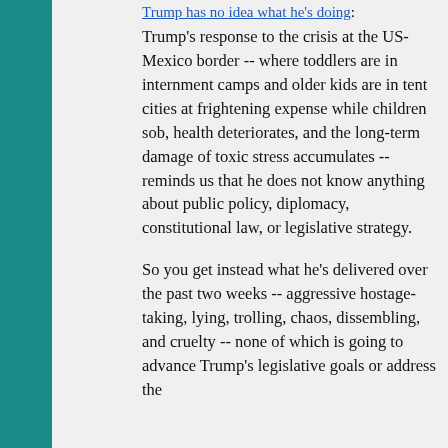Trump has no idea what he's doing:
Trump's response to the crisis at the US-Mexico border -- where toddlers are in internment camps and older kids are in tent cities at frightening expense while children sob, health deteriorates, and the long-term damage of toxic stress accumulates -- reminds us that he does not know anything about public policy, diplomacy, constitutional law, or legislative strategy.
So you get instead what he's delivered over the past two weeks -- aggressive hostage-taking, lying, trolling, chaos, dissembling, and cruelty -- none of which is going to advance Trump's legislative goals or address the